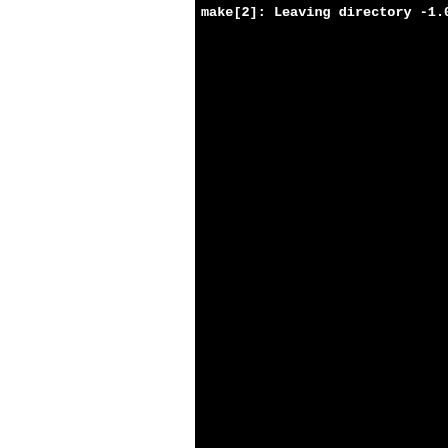[Figure (screenshot): Terminal/console output showing make build process for crypto subdirectories (lhash, rand, err, evp, asn1). Left portion of page is white (cropped), right portion shows black terminal with white monospace text.]